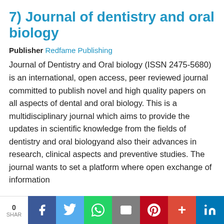7) Journal of dentistry and oral biology
Publisher Redfame Publishing
Journal of Dentistry and Oral biology (ISSN 2475-5680) is an international, open access, peer reviewed journal committed to publish novel and high quality papers on all aspects of dental and oral biology. This is a multidisciplinary journal which aims to provide the updates in scientific knowledge from the fields of dentistry and oral biologyand also their advances in research, clinical aspects and preventive studies. The journal wants to set a platform where open exchange of information